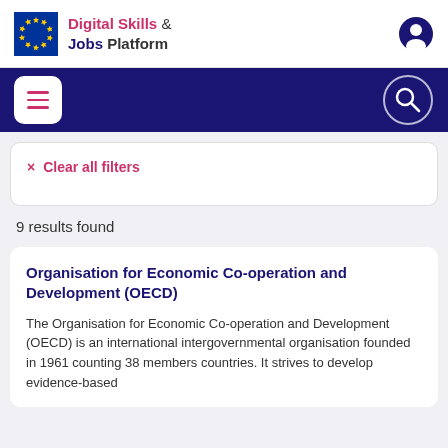Digital Skills & Jobs Platform
× Clear all filters
9 results found
Organisation for Economic Co-operation and Development (OECD)
The Organisation for Economic Co-operation and Development (OECD) is an international intergovernmental organisation founded in 1961 counting 38 members countries. It strives to develop evidence-based